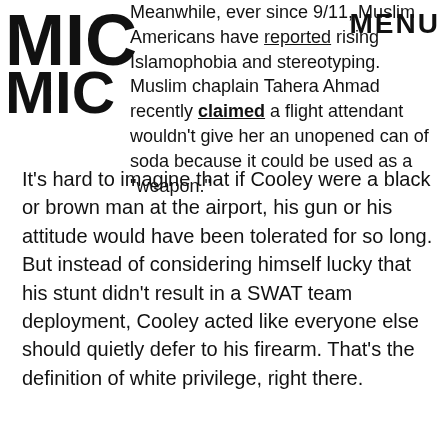[Figure (logo): MIC logo in bold black block letters]
MENU
Meanwhile, ever since 9/11, Muslim Americans have reported rising Islamophobia and stereotyping. Muslim chaplain Tahera Ahmad recently claimed a flight attendant wouldn't give her an unopened can of soda because it could be used as a "weapon."
It's hard to imagine that if Cooley were a black or brown man at the airport, his gun or his attitude would have been tolerated for so long. But instead of considering himself lucky that his stunt didn't result in a SWAT team deployment, Cooley acted like everyone else should quietly defer to his firearm. That's the definition of white privilege, right there.